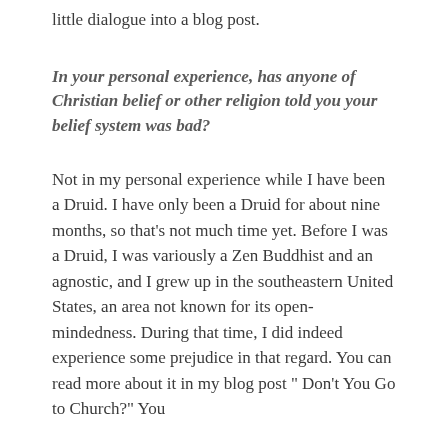little dialogue into a blog post.
In your personal experience, has anyone of Christian belief or other religion told you your belief system was bad?
Not in my personal experience while I have been a Druid. I have only been a Druid for about nine months, so that’s not much time yet. Before I was a Druid, I was variously a Zen Buddhist and an agnostic, and I grew up in the southeastern United States, an area not known for its open-mindedness. During that time, I did indeed experience some prejudice in that regard. You can read more about it in my blog post “ Don’t You Go to Church?” You